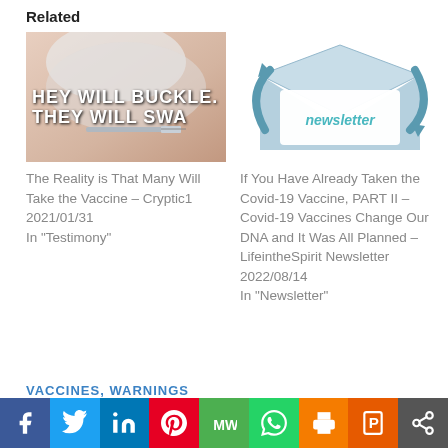Related
[Figure (photo): Thumbnail image of a vaccine injection with text overlay: HEY WILL BUCKLE. THEY WILL SWA]
The Reality is That Many Will Take the Vaccine – Cryptic1
2021/01/31
In "Testimony"
[Figure (illustration): Newsletter envelope illustration with arrows and teal 'newsletter' text]
If You Have Already Taken the Covid-19 Vaccine, PART II – Covid-19 Vaccines Change Our DNA and It Was All Planned – LifeintheSpirit Newsletter
2022/08/14
In "Newsletter"
VACCINES, WARNINGS
[Figure (other): Social sharing bar with Facebook, Twitter, LinkedIn, Pinterest, MeWe, WhatsApp, Print, Flipboard, Share buttons]